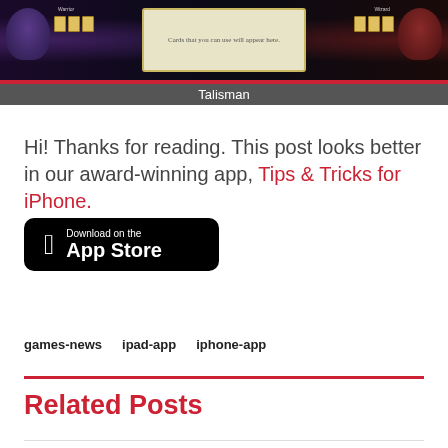[Figure (screenshot): Screenshot of Talisman game app showing a game board interface with two characters on either side and a card area in the center with text 'Cards that you can use will appear here.']
Hi! Thanks for reading. This post looks better in our award-winning app, Tips & Tricks for iPhone.
[Figure (logo): Download on the App Store button - black rounded rectangle with Apple logo and text 'Download on the App Store']
games-news
ipad-app
iphone-app
Related Posts